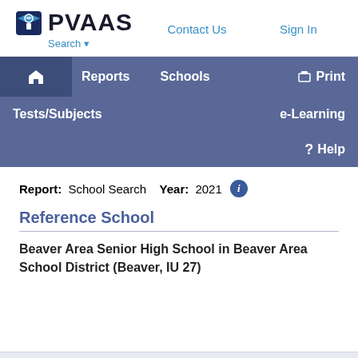[Figure (logo): PVAAS logo with graduation cap shield icon and bold PVAAS text]
Search ▼    Contact Us    Sign In
🏠  Reports  Schools  Print  Tests/Subjects  e-Learning  Help
Report: School Search   Year: 2021
Reference School
Beaver Area Senior High School in Beaver Area School District (Beaver, IU 27)